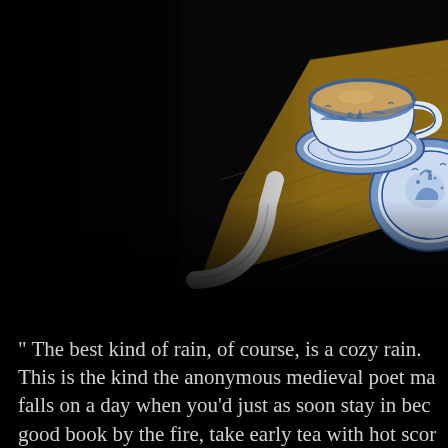[Figure (photo): A wooden tray with a white border/handle corner visible in the foreground, and blue-and-white willow pattern china (a teacup with saucer and a plate) in the upper right, set against a very dark/black background.]
" The best kind of rain, of course, is a cozy rain. This is the kind the anonymous medieval poet ma falls on a day when you'd just as soon stay in bec good book by the fire, take early tea with hot scor